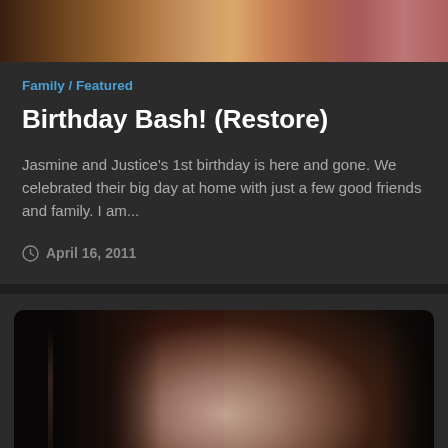[Figure (photo): Top partial image strip showing a birthday-related photo, cropped at top of page]
Family / Featured
Birthday Bash! (Restore)
Jasmine and Justice's 1st birthday is here and gone. We celebrated their big day at home with just a few good friends and family. I am...
April 16, 2011
[Figure (photo): Portrait photo of a dark-haired woman with blue-green eyes and red lipstick, green blurred background, shown from mid-chest up]